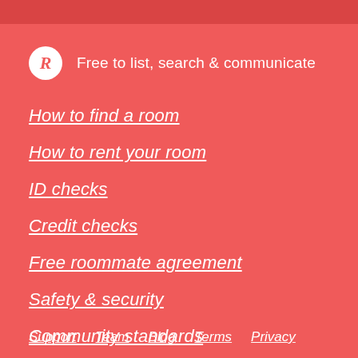Free to list, search & communicate
How to find a room
How to rent your room
ID checks
Credit checks
Free roommate agreement
Safety & security
Community standards
Support  Team  Blog  Terms  Privacy